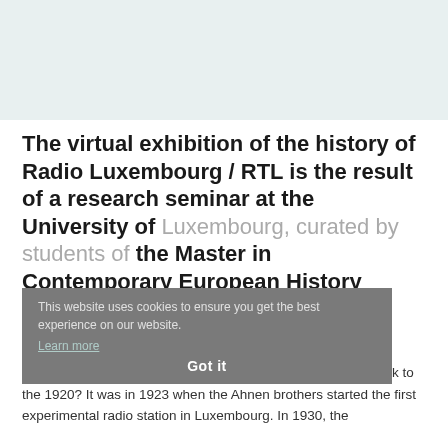The virtual exhibition of the history of Radio Luxembourg / RTL is the result of a research seminar at the University of Luxembourg, curated by students of the Master in Contemporary European History under the supervision of Prof. Andreas Fickers.
This website uses cookies to ensure you get the best experience on our website. Learn more. Got it
Did you know that the history of Radio Luxembourg goes back to the 1920? It was in 1923 when the Ahnen brothers started the first experimental radio station in Luxembourg. In 1930, the